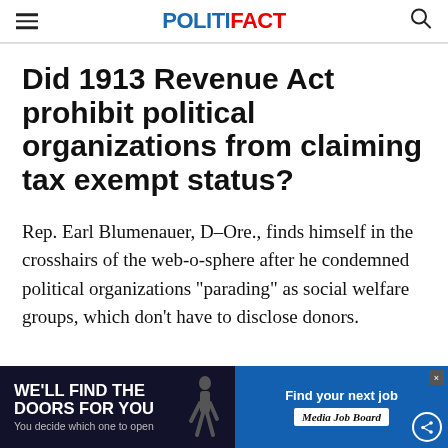POLITIFACT
Did 1913 Revenue Act prohibit political organizations from claiming tax exempt status?
Rep. Earl Blumenauer, D-Ore., finds himself in the crosshairs of the web-o-sphere after he condemned political organizations "parading" as social welfare groups, which don't have to disclose donors.
[Figure (infographic): Advertisement banner at bottom: left dark panel reads 'WE'LL FIND THE DOORS FOR YOU / You decide which one to open' with a figure silhouette; right blue panel reads 'Find your next job / Media Job Board']